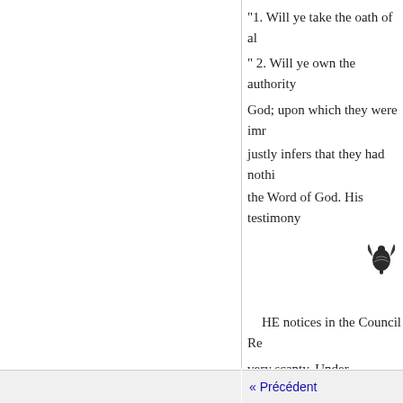"1. Will ye take the oath of al
" 2. Will ye own the authority God; upon which they were imr justly infers that they had nothi the Word of God. His testimony
[Figure (illustration): Decorative ornamental flourish or printer's mark, small dark illustrated vignette aligned to the right]
HE notices in the Council Re very scanty. Under November 1 forfeited for being at the rebelli brought in to Edinburgh. Under Justiciary] to meet, and, in rega that they name the day of his ex Edward Marshall, of Kaemuir, f verdict of the assize, and
« Précédent